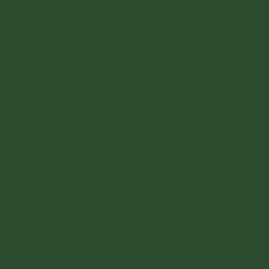| Date | Details |
| --- | --- |
| 08.05.2021 | A |
| Total o |  |
| 17.04.2021 |  |
|  |  |
| Total o |  |
| 10.04.2021 |  |
|  |  |
| Total o |  |
| 03.04.2021 |  |
|  |  |